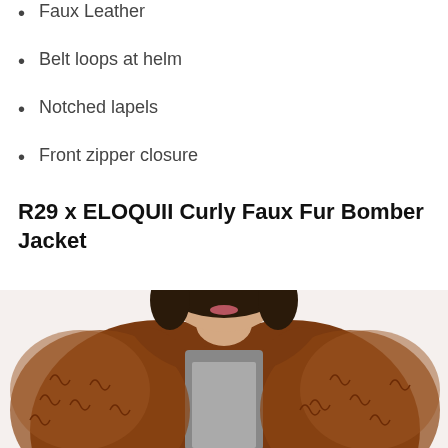Faux Leather
Belt loops at helm
Notched lapels
Front zipper closure
R29 x ELOQUII Curly Faux Fur Bomber Jacket
[Figure (photo): Woman wearing a brown curly faux fur bomber jacket over a grey top, photo cropped at the shoulders.]